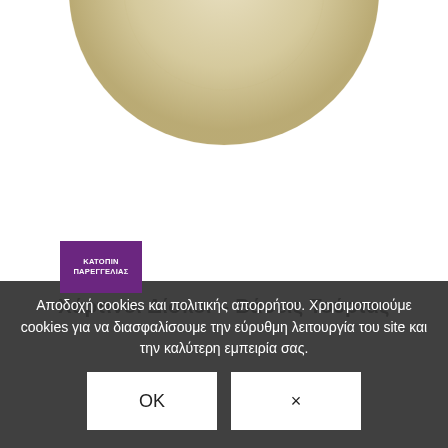[Figure (photo): A round cream/off-white colored cake board or cardboard disc viewed from above, showing textured surface, cropped so only the bottom half is visible.]
Χάρτινοι Δίσκοι – Βάσεις Τούρτας
Αποδοχή cookies και πολιτικής απορρήτου. Χρησιμοποιούμε cookies για να διασφαλίσουμε την εύρυθμη λειτουργία του site και την καλύτερη εμπειρία σας.
OK
×